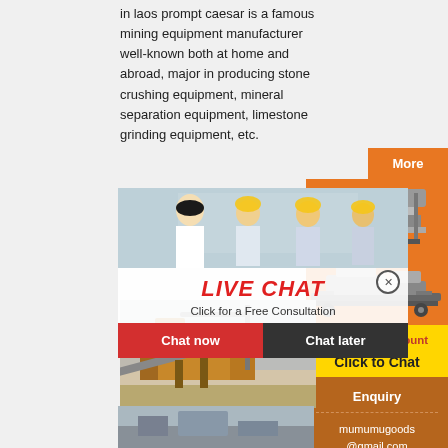in laos prompt caesar is a famous mining equipment manufacturer well-known both at home and abroad, major in producing stone crushing equipment, mineral separation equipment, limestone grinding equipment, etc.
[Figure (photo): Live chat overlay with people in yellow hard hats, showing LIVE CHAT header, Chat now and Chat later buttons]
[Figure (photo): Sidebar with orange background showing mining equipment/crushers images]
Enjoy 3% discount
Click to Chat
Enquiry
mumumugoods @gmail.com
[Figure (photo): Mining equipment/crusher machine at industrial site]
[Figure (photo): Bottom partial photo of mining equipment]